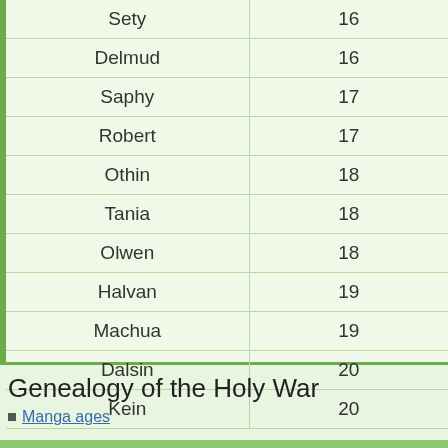| Sety | 16 |
| Delmud | 16 |
| Saphy | 17 |
| Robert | 17 |
| Othin | 18 |
| Tania | 18 |
| Olwen | 18 |
| Halvan | 19 |
| Machua | 19 |
| Dalsin | 20 |
| Kein | 20 |
Genealogy of the Holy War
Manga ages